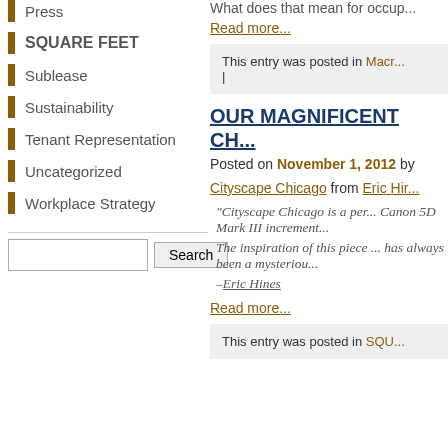Press
SQUARE FEET
Sublease
Sustainability
Tenant Representation
Uncategorized
Workplace Strategy
What does that mean for occup...
Read more...
This entry was posted in Macr... |
OUR MAGNIFICENT CH...
Posted on November 1, 2012 by
Cityscape Chicago from Eric Hir...
"Cityscape Chicago is a per... Canon 5D Mark III increment...
The inspiration of this piece ... has always been a mysteriou...
–Eric Hines
Read more...
This entry was posted in SQU...